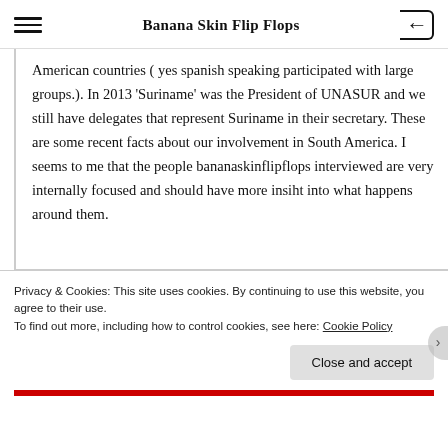Banana Skin Flip Flops
American countries ( yes spanish speaking participated with large groups.). In 2013 'Suriname' was the President of UNASUR and we still have delegates that represent Suriname in their secretary. These are some recent facts about our involvement in South America. I seems to me that the people bananaskinflipflops interviewed are very internally focused and should have more insiht into what happens around them.
Privacy & Cookies: This site uses cookies. By continuing to use this website, you agree to their use.
To find out more, including how to control cookies, see here: Cookie Policy